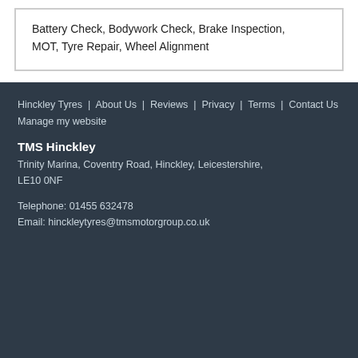Battery Check, Bodywork Check, Brake Inspection, MOT, Tyre Repair, Wheel Alignment
Hinckley Tyres | About Us | Reviews | Privacy | Terms | Contact Us
Manage my website
TMS Hinckley
Trinity Marina, Coventry Road, Hinckley, Leicestershire, LE10 0NF
Telephone: 01455 632478
Email: hinckleytyres@tmsmotorgroup.co.uk